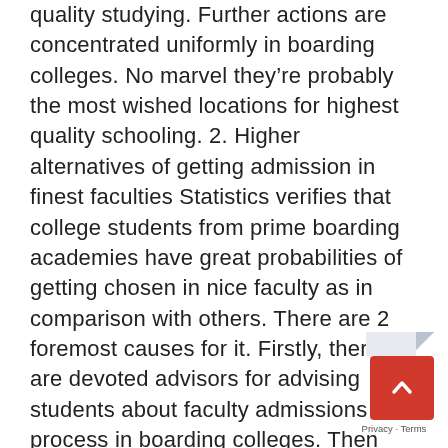quality studying. Further actions are concentrated uniformly in boarding colleges. No marvel they're probably the most wished locations for highest quality schooling. 2. Higher alternatives of getting admission in finest faculties Statistics verifies that college students from prime boarding academies have great probabilities of getting chosen in nice faculty as in comparison with others. There are 2 foremost causes for it. Firstly, there are devoted advisors for advising students about faculty admissions process in boarding colleges. Then again, in public colleges or different standard institutes there is just one mentor who works in a various work profile. It's relatively clear that resulting from lack of concentrated efforts, the speed of success is low. Secondly, these academies are extra intently related to the schools, faculties in addition to admission committees. Subsequently, there's a higher understanding and That is the explanation mother and father see these colleges a helpful choice. 3. To carry reliability in
[Figure (other): A red scroll-to-top button with a white upward chevron arrow, with a paper fold corner above it and Privacy · Terms text below]